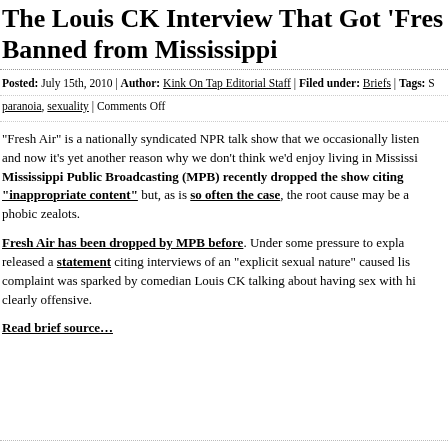The Louis CK Interview That Got 'Fresh Air' Banned from Mississippi
Posted: July 15th, 2010 | Author: Kink On Tap Editorial Staff | Filed under: Briefs | Tags: S paranoia, sexuality | Comments Off
"Fresh Air" is a nationally syndicated NPR talk show that we occasionally listen to, and now it's yet another reason why we don't think we'd enjoy living in Mississippi. Mississippi Public Broadcasting (MPB) recently dropped the show citing "inappropriate content" but, as is so often the case, the root cause may be a phobic zealots.
Fresh Air has been dropped by MPB before. Under some pressure to explain, released a statement citing interviews of an "explicit sexual nature" caused listeners complaint was sparked by comedian Louis CK talking about having sex with hi clearly offensive.
Read brief source…